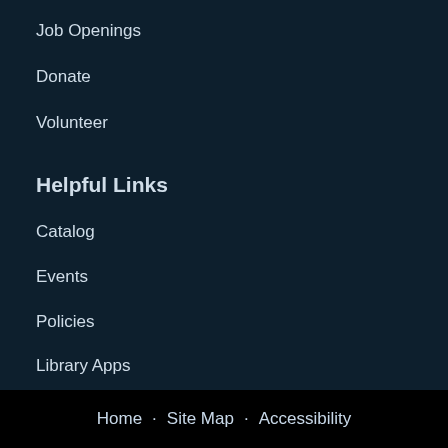Job Openings
Donate
Volunteer
Helpful Links
Catalog
Events
Policies
Library Apps
FAQs
Home   Site Map   Accessibility